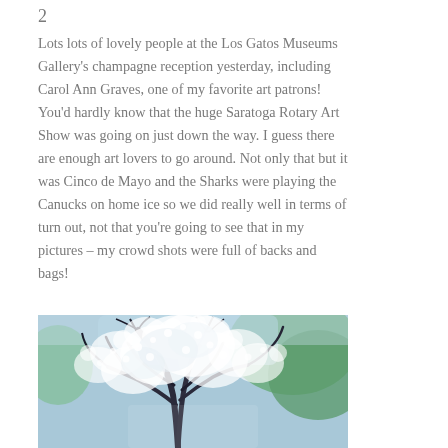2
Lots lots of lovely people at the Los Gatos Museums Gallery’s champagne reception yesterday, including Carol Ann Graves, one of my favorite art patrons! You’d hardly know that the huge Saratoga Rotary Art Show was going on just down the way. I guess there are enough art lovers to go around. Not only that but it was Cinco de Mayo and the Sharks were playing the Canucks on home ice so we did really well in terms of turn out, not that you’re going to see that in my pictures – my crowd shots were full of backs and bags!
[Figure (photo): A painting or photograph of a blossoming white tree with dark branches, set against a blue-green background. The tree is covered in dense white blossoms, with a soft impressionistic style.]